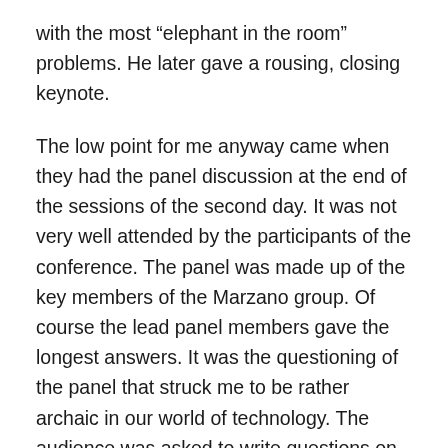with the most “elephant in the room” problems. He later gave a rousing, closing keynote.
The low point for me anyway came when they had the panel discussion at the end of the sessions of the second day. It was not very well attended by the participants of the conference. The panel was made up of the key members of the Marzano group. Of course the lead panel members gave the longest answers. It was the questioning of the panel that struck me to be rather archaic in our world of technology. The audience was asked to write questions on a piece of paper that would be picked up and delivered to the moderator. There was no microphone stand for open questioning. There was no hashtag back channel screen. The moderator was not monitoring an iPad for questions. I guess this was made difficult because there was also no Internet access for the conference, which should be...